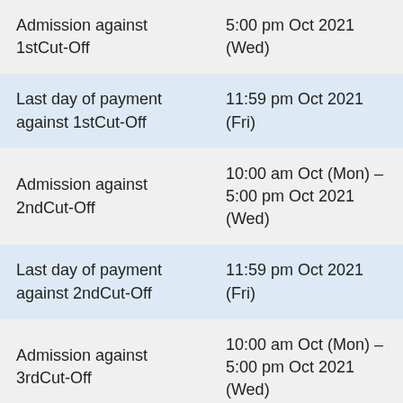| Admission against 1stCut-Off | 5:00 pm Oct 2021 (Wed) |
| Last day of payment against 1stCut-Off | 11:59 pm Oct 2021 (Fri) |
| Admission against 2ndCut-Off | 10:00 am Oct (Mon) – 5:00 pm Oct 2021 (Wed) |
| Last day of payment against 2ndCut-Off | 11:59 pm Oct 2021 (Fri) |
| Admission against 3rdCut-Off | 10:00 am Oct (Mon) – 5:00 pm Oct 2021 (Wed) |
| Last day of payment against 3rdCut-Off | 11:59 pm Oct 2021 (Fri) |
| Admission against 4thCut-Off | 10:00 am Nov (Mon) – 5:00 pm Nov 2021 (Wed) |